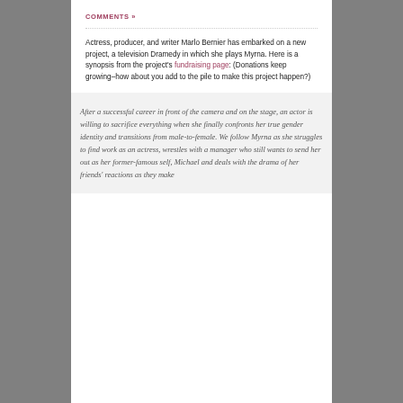COMMENTS »
Actress, producer, and writer Marlo Bernier has embarked on a new project, a television Dramedy in which she plays Myrna. Here is a synopsis from the project's fundraising page: (Donations keep growing–how about you add to the pile to make this project happen?)
After a successful career in front of the camera and on the stage, an actor is willing to sacrifice everything when she finally confronts her true gender identity and transitions from male-to-female. We follow Myrna as she struggles to find work as an actress, wrestles with a manager who still wants to send her out as her former-famous self, Michael and deals with the drama of her friends' reactions as they make